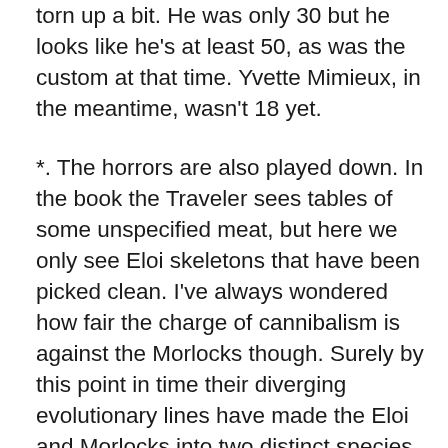torn up a bit. He was only 30 but he looks like he's at least 50, as was the custom at that time. Yvette Mimieux, in the meantime, wasn't 18 yet.
*. The horrors are also played down. In the book the Traveler sees tables of some unspecified meat, but here we only see Eloi skeletons that have been picked clean. I've always wondered how fair the charge of cannibalism is against the Morlocks though. Surely by this point in time their diverging evolutionary lines have made the Eloi and Morlocks into two distinct species so it wouldn't be right to call them cannibals.
*. The upshot of all this is to make The Time Machine a less adult entertainment and more just good silly fun. I think most people today of a certain age have fond memories of seeing it on TV when they were kids. Such was my experience, anyway. I'd forgotten just how long the movie takes to get us to the year 802701, and all of